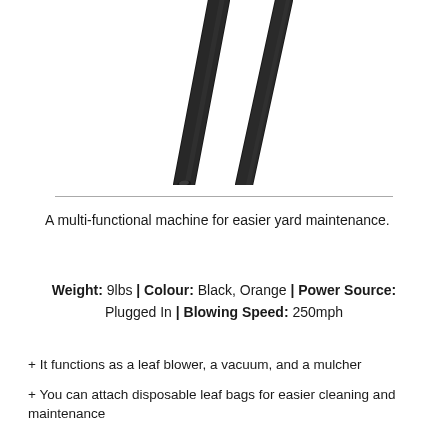[Figure (photo): Two black leaf blower tubes/nozzles shown crossing each other diagonally on a white background]
A multi-functional machine for easier yard maintenance.
Weight: 9lbs | Colour: Black, Orange | Power Source: Plugged In | Blowing Speed: 250mph
+ It functions as a leaf blower, a vacuum, and a mulcher
+ You can attach disposable leaf bags for easier cleaning and maintenance